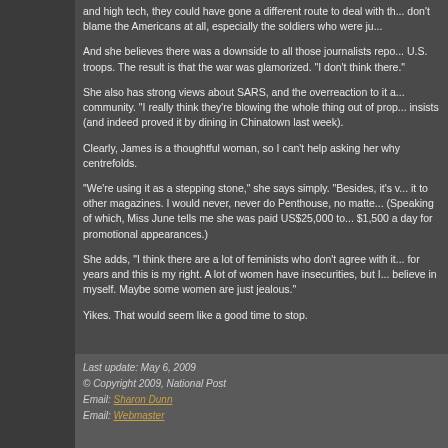and high tech, they could have gone a different route to deal with th... don't blame the Americans at all, especially the soldiers who were ju...
And she believes there was a downside to all those journalists repo... U.S. troops. The result is that the war was glamorized. "I don't think there."
She also has strong views about SARS, and the overreaction to it a... community. "I really think they're blowing the whole thing out of prop... insists (and indeed proved it by dining in Chinatown last week).
Clearly, James is a thoughtful woman, so I can't help asking her why centrefolds.
"We're using it as a stepping stone," she says simply. "Besides, it's v... it to other magazines. I would never, never do Penthouse, no matte... (Speaking of which, Miss June tells me she was paid US$25,000 to... $1,500 a day for promotional appearances.)
She adds, "I think there are a lot of feminists who don't agree with it... for years and this is my right. A lot of women have insecurities, but I... believe in myself. Maybe some women are just jealous."
Yikes. That would seem like a good time to stop.
Last update: May 6, 2009
© Copyright 2009, National Post
Email: Sharon Dunn
Email: Webmaster